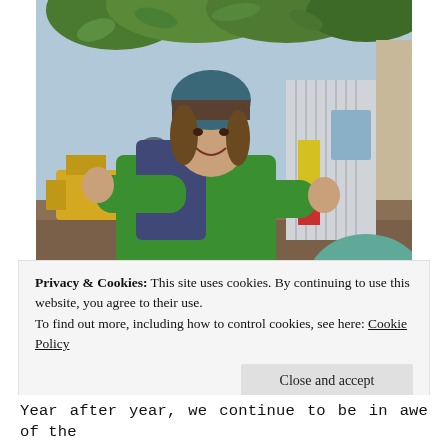[Figure (photo): A smiling young woman with a backpack and green jacket wearing a teal knit beanie hat, giving two thumbs up outdoors under tree branches. In the background there is a person in a hoodie, a yellow vehicle, and a corrugated metal structure.]
Privacy & Cookies: This site uses cookies. By continuing to use this website, you agree to their use.
To find out more, including how to control cookies, see here: Cookie Policy
Close and accept
Year after year, we continue to be in awe of the